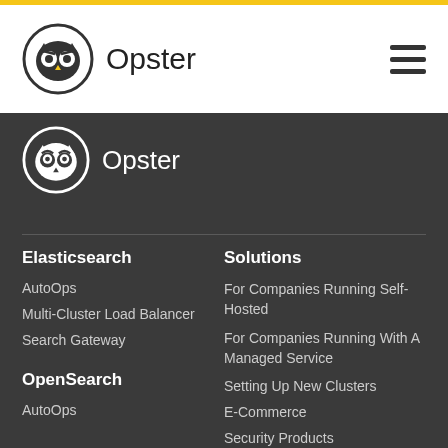Opster — navigation header with logo and hamburger menu
[Figure (logo): Opster owl logo (white circle with owl face) and Opster text in dark section]
Elasticsearch
AutoOps
Multi-Cluster Load Balancer
Search Gateway
OpenSearch
AutoOps
Solutions
For Companies Running Self-Hosted
For Companies Running With A Managed Service
Setting Up New Clusters
E-Commerce
Security Products